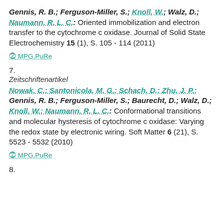Gennis, R. B.; Ferguson-Miller, S.; Knoll, W.; Walz, D.; Naumann, R. L. C.: Oriented immobilization and electron transfer to the cytochrome c oxidase. Journal of Solid State Electrochemistry 15 (1), S. 105 - 114 (2011)
MPG.PuRe
7.
Zeitschriftenartikel
Nowak, C.; Santonicola, M. G.; Schach, D.; Zhu, J. P.; Gennis, R. B.; Ferguson-Miller, S.; Baurecht, D.; Walz, D.; Knoll, W.; Naumann, R. L. C.: Conformational transitions and molecular hysteresis of cytochrome c oxidase: Varying the redox state by electronic wiring. Soft Matter 6 (21), S. 5523 - 5532 (2010)
MPG.PuRe
8.